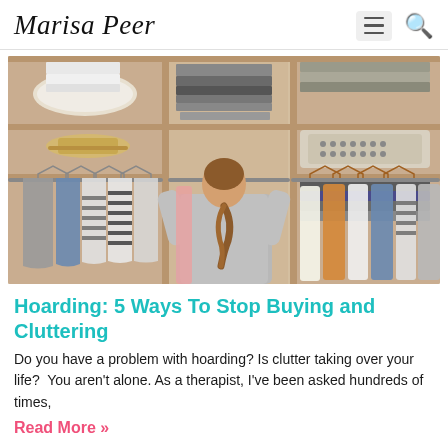Marisa Peer
[Figure (photo): Woman with braided hair standing in front of an organized walk-in closet, browsing through hanging clothes on wooden hangers. Shelves above contain folded items, pillows, and accessories.]
Hoarding: 5 Ways To Stop Buying and Cluttering
Do you have a problem with hoarding? Is clutter taking over your life?  You aren't alone. As a therapist, I've been asked hundreds of times,
Read More »